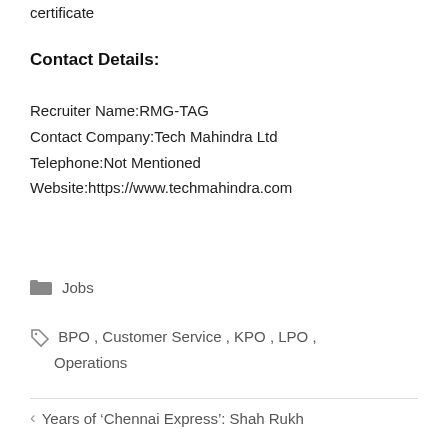certificate
Contact Details:
Recruiter Name:RMG-TAG
Contact Company:Tech Mahindra Ltd
Telephone:Not Mentioned
Website:https://www.techmahindra.com
Jobs
BPO , Customer Service , KPO , LPO , Operations
Years of ‘Chennai Express’: Shah Rukh